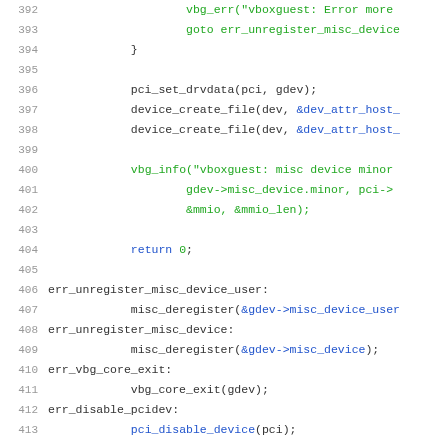[Figure (screenshot): Source code listing showing lines 392-412 of a C file, with line numbers on the left, code in monospace font. Lines include vbg_err, goto, pci_set_drvdata, device_create_file, vbg_info, return 0, error labels and misc_deregister/vbg_core_exit calls.]